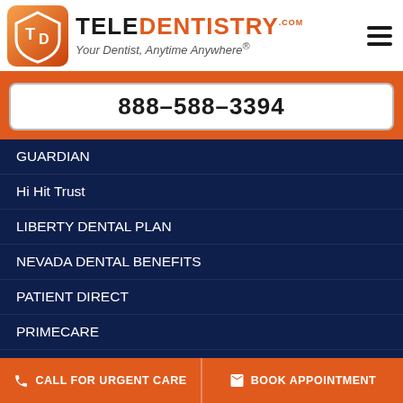TELEDENTISTRY.com — Your Dentist, Anytime Anywhere®
888-588-3394
GUARDIAN
Hi Hit Trust
LIBERTY DENTAL PLAN
NEVADA DENTAL BENEFITS
PATIENT DIRECT
PRIMECARE
SUNLIFE
TruAssure
UNITED CONCORDIA
UNUM
CALL FOR URGENT CARE   BOOK APPOINTMENT